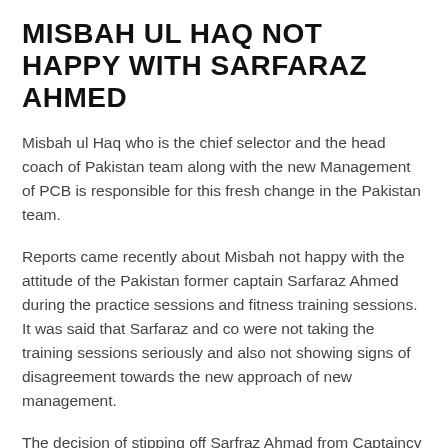MISBAH UL HAQ NOT HAPPY WITH SARFARAZ AHMED
Misbah ul Haq who is the chief selector and the head coach of Pakistan team along with the new Management of PCB is responsible for this fresh change in the Pakistan team.
Reports came recently about Misbah not happy with the attitude of the Pakistan former captain Sarfaraz Ahmed during the practice sessions and fitness training sessions. It was said that Sarfaraz and co were not taking the training sessions seriously and also not showing signs of disagreement towards the new approach of new management.
The decision of stipping off Sarfraz Ahmad from Captaincy came today however it was not a surprise for few considering the recent developments.